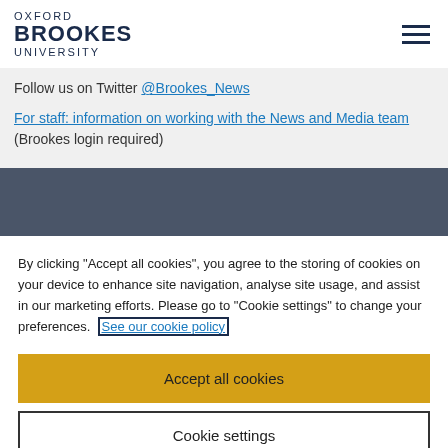OXFORD BROOKES UNIVERSITY
Follow us on Twitter @Brookes_News
For staff: information on working with the News and Media team (Brookes login required)
By clicking "Accept all cookies", you agree to the storing of cookies on your device to enhance site navigation, analyse site usage, and assist in our marketing efforts. Please go to "Cookie settings" to change your preferences. See our cookie policy
Accept all cookies
Cookie settings